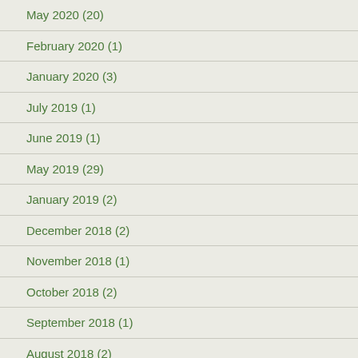May 2020 (20)
February 2020 (1)
January 2020 (3)
July 2019 (1)
June 2019 (1)
May 2019 (29)
January 2019 (2)
December 2018 (2)
November 2018 (1)
October 2018 (2)
September 2018 (1)
August 2018 (2)
June 2018 (1)
May 2018 (1)
March 2018 (1)